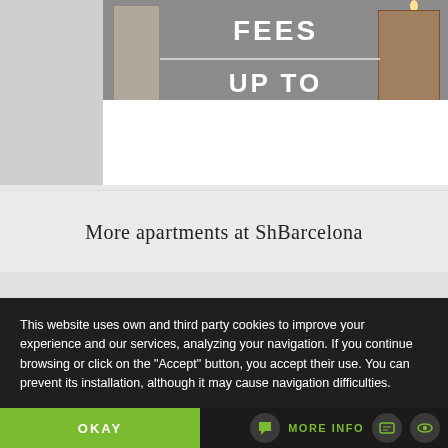[Figure (photo): Apartment interior photo with text overlay showing 'FEES' and 'UP TO' in bold white capital letters with a horizontal line separator. The photo shows an apartment interior with a door and shelving visible.]
More apartments at ShBarcelona
[Figure (photo): Partial white card/image area below the section header]
This website uses own and third party cookies to improve your experience and our services, analyzing your navigation. If you continue browsing or click on the "Accept" button, you accept their use. You can prevent its installation, although it may cause navigation difficulties.
OKAY
MORE INFO